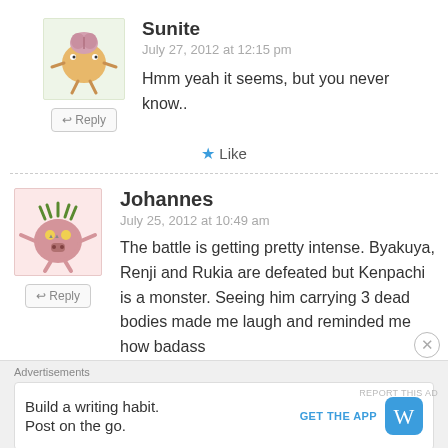[Figure (illustration): Cartoon avatar of a blob-like creature with brain on top and stick legs, on light green background]
Sunite
July 27, 2012 at 12:15 pm
Hmm yeah it seems, but you never know..
★ Like
[Figure (illustration): Cartoon avatar of a pink round creature with horns and stubby arms, on light pink background]
Johannes
July 25, 2012 at 10:49 am
The battle is getting pretty intense. Byakuya, Renji and Rukia are defeated but Kenpachi is a monster. Seeing him carrying 3 dead bodies made me laugh and reminded me how badass
Advertisements
Build a writing habit.
Post on the go.
GET THE APP